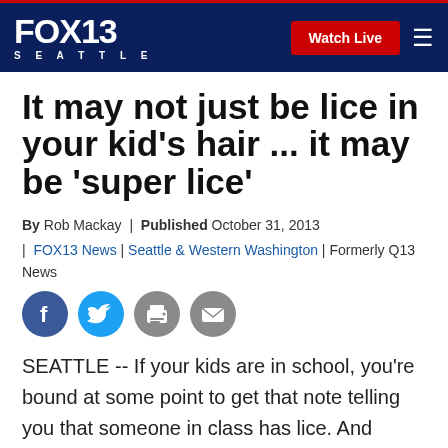FOX13 SEATTLE | Watch Live
It may not just be lice in your kid's hair ... it may be 'super lice'
By Rob Mackay | Published October 31, 2013 | FOX13 News | Seattle & Western Washington | Formerly Q13 News
[Figure (illustration): Social media sharing icons: Facebook, Twitter, Print, Email]
SEATTLE -- If your kids are in school, you're bound at some point to get that note telling you that someone in class has lice. And getting rid of those little buggers